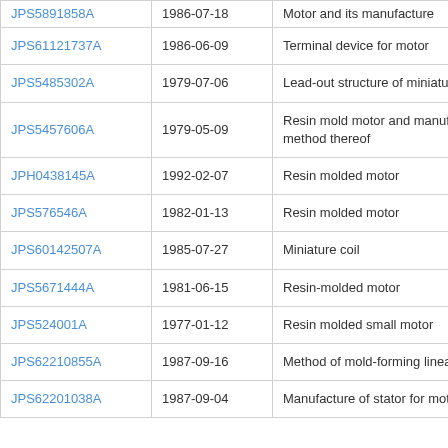| JPS5891858A | 1986-07-18 | Motor and its manufacture |
| JPS61121737A | 1986-06-09 | Terminal device for motor |
| JPS5485302A | 1979-07-06 | Lead-out structure of miniature motor |
| JPS5457606A | 1979-05-09 | Resin mold motor and manufacturing method thereof |
| JPH0438145A | 1992-02-07 | Resin molded motor |
| JPS576546A | 1982-01-13 | Resin molded motor |
| JPS60142507A | 1985-07-27 | Miniature coil |
| JPS5671444A | 1981-06-15 | Resin-molded motor |
| JPS524001A | 1977-01-12 | Resin molded small motor |
| JPS62210855A | 1987-09-16 | Method of mold-forming linear motor |
| JPS62201038A | 1987-09-04 | Manufacture of stator for motor |